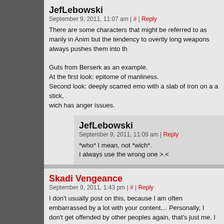JefLebowski
September 9, 2011, 11:07 am | # | Reply
There are some characters that might be referred to as manly in Anim but the tendency to overtly long weapons always pushes them into th
Guts from Berserk as an example.
At the first look: epitome of manliness.
Second look: deeply scarred emo with a slab of Iron on a a stick, wich has anger issues.
JefLebowski
September 9, 2011, 11:09 am | Reply
*who* I mean, not *wich*.
I always use the wrong one >.<
Skadi Vengeance
September 9, 2011, 1:43 pm | # | Reply
I don't usually post on this, because I am often embarrassed by a lot with your content… Personally, I don't get offended by other peoples again, that's just me, I don't like posting actively on the internet unles your comic. If they don't like what you post, they can go somewhere e something like this before.
Anyway, I think this is such a unique concept for a comic. Keep at it.